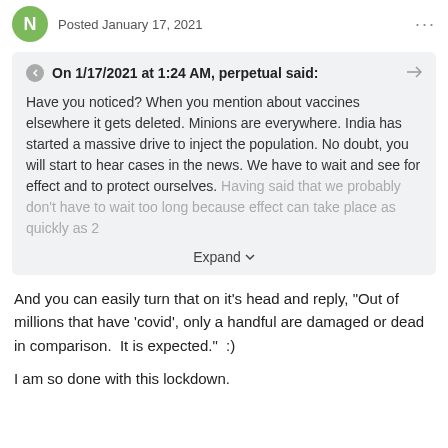Posted January 17, 2021
On 1/17/2021 at 1:24 AM, perpetual said:
Have you noticed? When you mention about vaccines elsewhere it gets deleted. Minions are everywhere. India has started a massive drive to inject the population. No doubt, you will start to hear cases in the news. We have to wait and see for effect and to protect ourselves. Having said that we probably don't have to wait too long because effect can take place as quickly as 2
Expand
And you can easily turn that on it's head and reply, "Out of millions that have 'covid', only a handful are damaged or dead in comparison.  It is expected."  :)
I am so done with this lockdown.